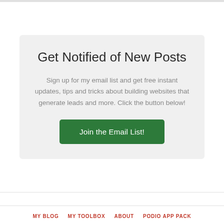Get Notified of New Posts
Sign up for my email list and get free instant updates, tips and tricks about building websites that generate leads and more. Click the button below!
Join the Email List!
MY BLOG  MY TOOLBOX  ABOUT  PODIO APP PACK